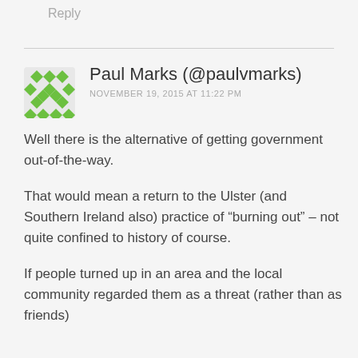Reply
Paul Marks (@paulvmarks)
NOVEMBER 19, 2015 AT 11:22 PM
Well there is the alternative of getting government out-of-the-way.
That would mean a return to the Ulster (and Southern Ireland also) practice of “burning out” – not quite confined to history of course.
If people turned up in an area and the local community regarded them as a threat (rather than as friends)